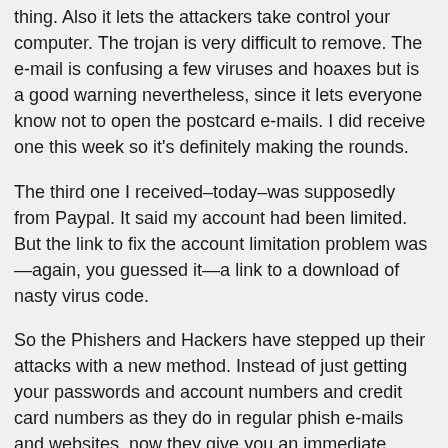thing. Also it lets the attackers take control your computer. The trojan is very difficult to remove. The e-mail is confusing a few viruses and hoaxes but is a good warning nevertheless, since it lets everyone know not to open the postcard e-mails. I did receive one this week so it's definitely making the rounds.
The third one I received–today–was supposedly from Paypal. It said my account had been limited. But the link to fix the account limitation problem was—again, you guessed it—a link to a download of nasty virus code.
So the Phishers and Hackers have stepped up their attacks with a new method. Instead of just getting your passwords and account numbers and credit card numbers as they do in regular phish e-mails and websites, now they give you an immediate download of binary code.
[ad name="new"]